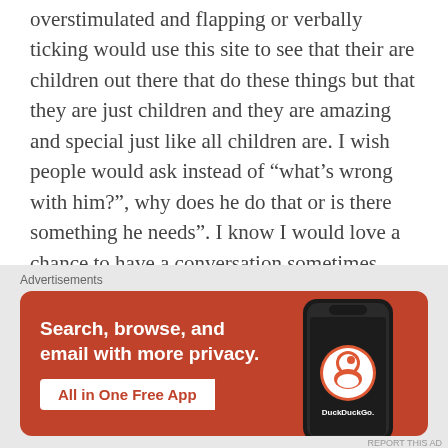overstimulated and flapping or verbally ticking would use this site to see that their are children out there that do these things but that they are just children and they are amazing and special just like all children are. I wish people would ask instead of “what’s wrong with him?”, why does he do that or is there something he needs”. I know I would love a chance to have a conversation sometimes about his amazing mind and self instead of the pointing and starring. I also realize it
[Figure (screenshot): DuckDuckGo advertisement banner with orange background. Text reads: 'Search, browse, and email with more privacy. All in One Free App' with a phone showing the DuckDuckGo app icon.]